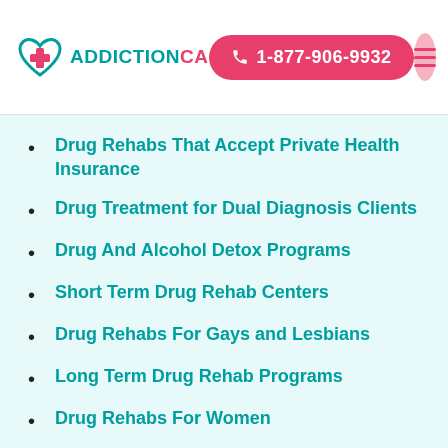ADDICTIONCA | 1-877-906-9932
Drug Rehabs That Accept Private Health Insurance
Drug Treatment for Dual Diagnosis Clients
Drug And Alcohol Detox Programs
Short Term Drug Rehab Centers
Drug Rehabs For Gays and Lesbians
Long Term Drug Rehab Programs
Drug Rehabs For Women